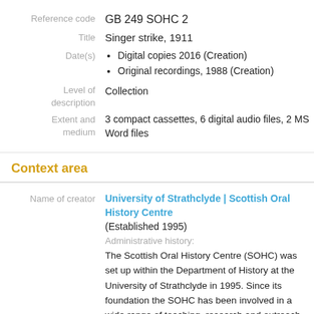| Reference code | GB 249 SOHC 2 |
| Title | Singer strike, 1911 |
| Date(s) | Digital copies 2016 (Creation)
Original recordings, 1988 (Creation) |
| Level of description | Collection |
| Extent and medium | 3 compact cassettes, 6 digital audio files, 2 MS Word files |
Context area
| Name of creator | University of Strathclyde | Scottish Oral History Centre
(Established 1995)
Administrative history:
The Scottish Oral History Centre (SOHC) was set up within the Department of History at the University of Strathclyde in 1995. Since its foundation the SOHC has been involved in a wide range of teaching, research and outreach activities designed primarily ... |